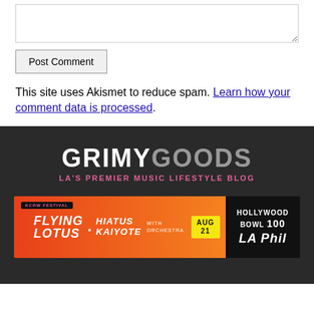[comment text area]
Post Comment
This site uses Akismet to reduce spam. Learn how your comment data is processed.
[Figure (logo): Grimy Goods logo - LA's Premier Music Lifestyle Blog on dark background]
[Figure (infographic): Hollywood Bowl concert advertisement banner: Flying Lotus + Hiatus Kaiyote with Orchestra, Aug 21, KCRW Festival, Hollywood Bowl 100, LA Phil]